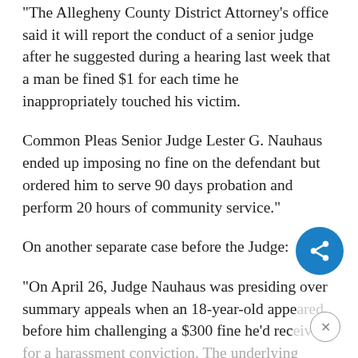“The Allegheny County District Attorney’s office said it will report the conduct of a senior judge after he suggested during a hearing last week that a man be fined $1 for each time he inappropriately touched his victim.
Common Pleas Senior Judge Lester G. Nauhaus ended up imposing no fine on the defendant but ordered him to serve 90 days probation and perform 20 hours of community service.”
On another separate case before the Judge:
“On April 26, Judge Nauhaus was presiding over summary appeals when an 18-year-old appeared before him challenging a $300 fine he’d received for a harassment conviction. The underlying conduct, according to Assistant District Attorney